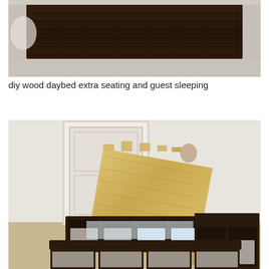[Figure (photo): Close-up photo of a dark stained wood slat headboard/footboard piece against a light carpet background]
diy wood daybed extra seating and guest sleeping
[Figure (photo): Photo of a DIY daybed frame under construction: plywood panel leaning against a white wall near a door, dark espresso IKEA-style cube shelving units arranged in a U-shape platform with fabric storage bins]